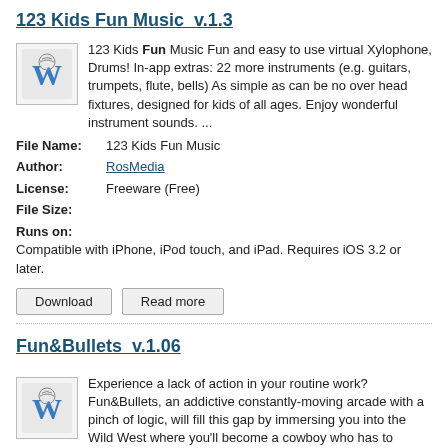123 Kids Fun Music  v.1.3
[Figure (logo): Wikipedia-style W logo icon for 123 Kids Fun Music app]
123 Kids Fun Music Fun and easy to use virtual Xylophone, Drums! In-app extras: 22 more instruments (e.g. guitars, trumpets, flute, bells) As simple as can be no over head fixtures, designed for kids of all ages. Enjoy wonderful instrument sounds. ...
| File Name: | 123 Kids Fun Music |
| Author: | RosMedia |
| License: | Freeware (Free) |
| File Size: |  |
| Runs on: | Compatible with iPhone, iPod touch, and iPad. Requires iOS 3.2 or later. |
Download   Read more
Fun&Bullets  v.1.06
[Figure (logo): Wikipedia-style W logo icon for Fun&Bullets app]
Experience a lack of action in your routine work? Fun&Bullets, an addictive constantly-moving arcade with a pinch of logic, will fill this gap by immersing you into the Wild West where you'll become a cowboy who has to literally raze to the ground. ...
File Name:   Fun&Bullets